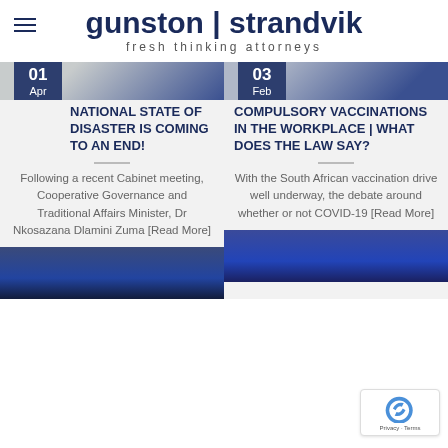gunston | strandvik — fresh thinking attorneys
01 Apr — NATIONAL STATE OF DISASTER IS COMING TO AN END!
Following a recent Cabinet meeting, Cooperative Governance and Traditional Affairs Minister, Dr Nkosazana Dlamini Zuma [Read More]
03 Feb — COMPULSORY VACCINATIONS IN THE WORKPLACE | WHAT DOES THE LAW SAY?
With the South African vaccination drive well underway, the debate around whether or not COVID-19 [Read More]